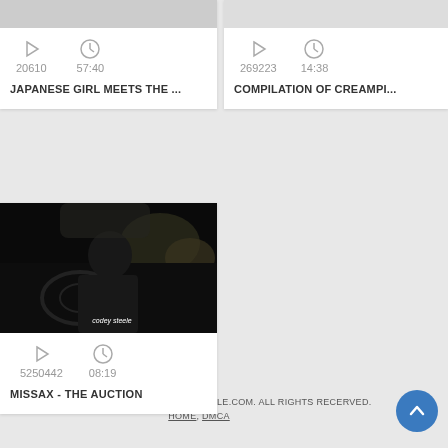[Figure (screenshot): Video card top-left: play icon, clock icon, views 20610, duration 57:40, title JAPANESE GIRL MEETS THE ...]
[Figure (screenshot): Video card top-right: play icon, clock icon, views 269223, duration 14:38, title COMPILATION OF CREAMPI...]
[Figure (photo): Video thumbnail bottom-left showing dark car interior scene with text 'codey steele', views 5250442, duration 08:19, title MISSAX - THE AUCTION]
© HTTPS://LETSREACHONEMILLIONPEOPLE.COM. ALL RIGHTS RECERVED. HOME, DMCA